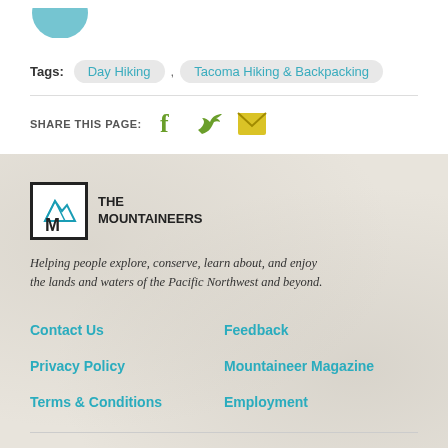[Figure (logo): Partial circular logo at top left (cropped)]
Tags: Day Hiking , Tacoma Hiking & Backpacking
SHARE THIS PAGE: [Facebook icon] [Twitter icon] [Email icon]
[Figure (logo): The Mountaineers logo - black bordered box with M and mountain peaks illustration, beside THE MOUNTAINEERS text]
Helping people explore, conserve, learn about, and enjoy the lands and waters of the Pacific Northwest and beyond.
Contact Us
Feedback
Privacy Policy
Mountaineer Magazine
Terms & Conditions
Employment